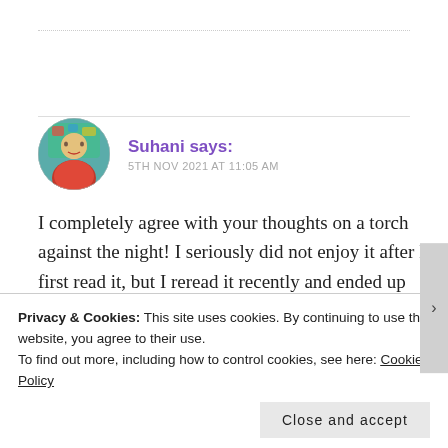Suhani says: 5TH NOV 2021 AT 11:05 AM
I completely agree with your thoughts on a torch against the night! I seriously did not enjoy it after I first read it, but I reread it recently and ended up enjoying it a lot more than the first time around!
Privacy & Cookies: This site uses cookies. By continuing to use this website, you agree to their use. To find out more, including how to control cookies, see here: Cookie Policy
Close and accept